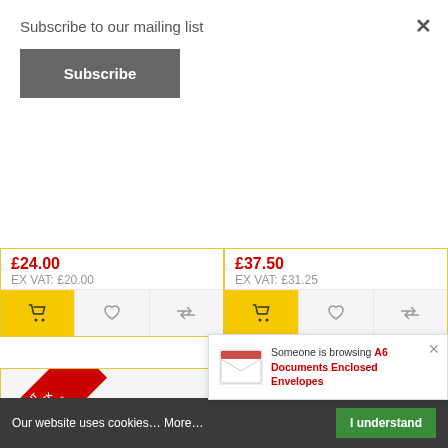Subscribe to our mailing list
Subscribe
£24.00
EX VAT: £20.00
£37.50
EX VAT: £31.25
[Figure (photo): Open cardboard box filled with blue packing peanuts, with OUT OF STOCK diagonal banner and recycling icons]
[Figure (photo): Open cardboard box filled with mixed colour packing peanuts, with OUT OF STOCK diagonal banner]
Compostable (EN13432)
Compostable (EN13432)
[Figure (photo): A6 Documents Enclosed envelope, small product image in notification popup]
Someone is browsing A6 Documents Enclosed Envelopes
Our website uses cookies… More…
I understand